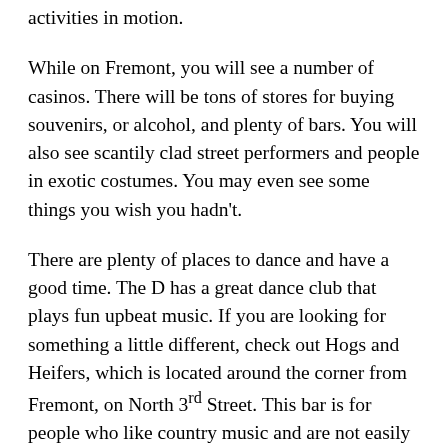activities in motion.
While on Fremont, you will see a number of casinos. There will be tons of stores for buying souvenirs, or alcohol, and plenty of bars. You will also see scantily clad street performers and people in exotic costumes. You may even see some things you wish you hadn't.
There are plenty of places to dance and have a good time. The D has a great dance club that plays fun upbeat music. If you are looking for something a little different, check out Hogs and Heifers, which is located around the corner from Fremont, on North 3rd Street. This bar is for people who like country music and are not easily offended. You will see the bartenders dancing on the bar and they will also go to lengths to harass you, but it is all in the name of fun.
Fremont Street is also the home of some great food